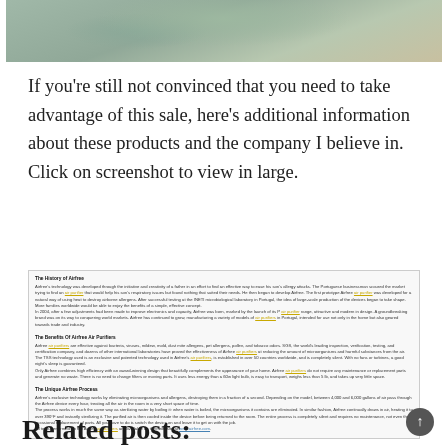[Figure (photo): Photo of a shaggy sage/mint green rug on a wooden floor]
If you're still not convinced that you need to take advantage of this sale, here's additional information about these products and the company I believe in. Click on screenshot to view in large.
[Figure (screenshot): Screenshot of article text about Airfree air purifiers with sections: The History of Airfree, The Benefits Of Airfree Air Purifiers, The Unique Airfree Process]
Related posts: